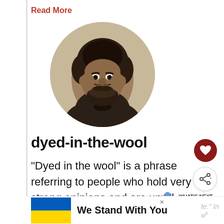Read More
[Figure (photo): Circular black-and-white portrait photograph of Frederick Douglass, a 19th-century African American abolitionist, with voluminous hair and a beard, wearing a dark jacket.]
dyed-in-the-wool
“Dyed in the wool” is a phrase referring to people who hold very strong opinions and are unwil change them. Synonyms include
[Figure (logo): Small Capitol building icon next to WHAT'S NEXT arrow label and 'dark money' text]
[Figure (infographic): Ukraine flag (blue and yellow) with text 'We Stand With You']